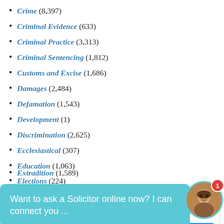Crime (8,397)
Criminal Evidence (633)
Criminal Practice (3,313)
Criminal Sentencing (1,812)
Customs and Excise (1,686)
Damages (2,484)
Defamation (1,543)
Development (1)
Discrimination (2,625)
Ecclesiastical (307)
Education (1,063)
Elections (224)
Employment (12,719)
Environment (820)
Extradition (1,589)
[Figure (screenshot): Chat bubble overlay: 'Want to ask a Solicitor online now? I can connect you ...' with avatar and badge.]
[Figure (screenshot): Advertisement: Tree Service & Land Clearing. Central VA & Northern VA. Certified, Licensed, Bonded & Insured. Jenkins Excavating... Open button.]